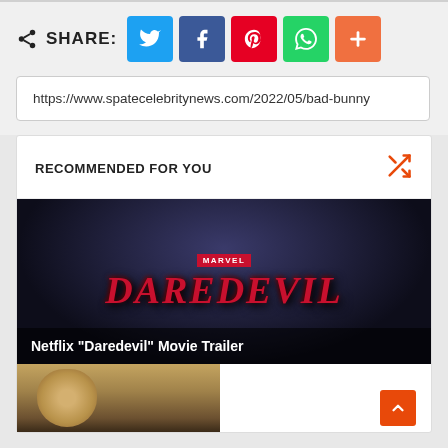SHARE:
[Figure (infographic): Share bar with social media buttons: Twitter (blue), Facebook (dark blue), Pinterest (red), WhatsApp (green), More/Plus (orange)]
https://www.spatecelebritynews.com/2022/05/bad-bunny
RECOMMENDED FOR YOU
[Figure (photo): Marvel Daredevil logo on dark background with text overlay: Netflix "Daredevil" Movie Trailer]
Netflix "Daredevil" Movie Trailer
[Figure (photo): Partial photo of a woman's face, brown hair, partially visible at bottom of page]